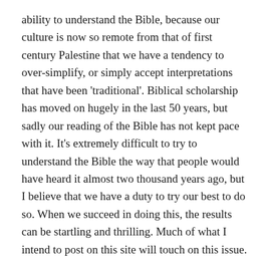ability to understand the Bible, because our culture is now so remote from that of first century Palestine that we have a tendency to over-simplify, or simply accept interpretations that have been 'traditional'. Biblical scholarship has moved on hugely in the last 50 years, but sadly our reading of the Bible has not kept pace with it. It's extremely difficult to try to understand the Bible the way that people would have heard it almost two thousand years ago, but I believe that we have a duty to try our best to do so. When we succeed in doing this, the results can be startling and thrilling. Much of what I intend to post on this site will touch on this issue.
The material I intend to post every few weeks or so, has come to me following much reading and research (please see the tab titled 'Sources') and even more